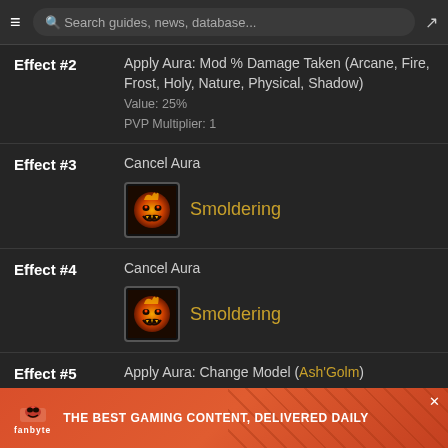Search guides, news, database...
Effect #2
Apply Aura: Mod % Damage Taken (Arcane, Fire, Frost, Holy, Nature, Physical, Shadow)
Value: 25%
PVP Multiplier: 1
Effect #3
Cancel Aura
[Figure (illustration): Smoldering spell icon - orange flame face on dark background]
Smoldering
Effect #4
Cancel Aura
[Figure (illustration): Smoldering spell icon - orange flame face on dark background]
Smoldering
Effect #5
Apply Aura: Change Model (Ash'Golm)
PVP Multiplier: 1
Effect #6
Activate Object (8)
Radius: 10 yards
PVP Multiplier: 1
[Figure (illustration): Fanbyte advertisement banner - THE BEST GAMING CONTENT, DELIVERED DAILY]